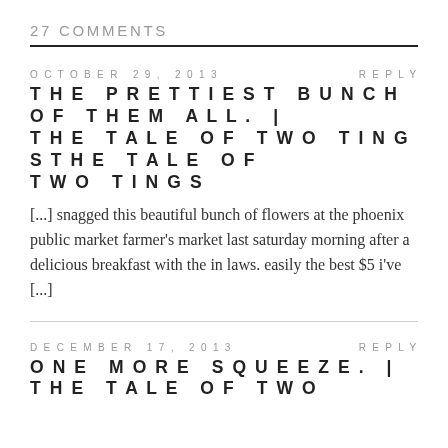27 COMMENTS
OCTOBER 29, 2013    REPLY
THE PRETTIEST BUNCH OF THEM ALL. | THE TALE OF TWO TINGSTHE TALE OF TWO TINGS
[...] snagged this beautiful bunch of flowers at the phoenix public market farmer's market last saturday morning after a delicious breakfast with the in laws. easily the best $5 i've [...]
DECEMBER 17, 2013    REPLY
ONE MORE SQUEEZE. | THE TALE OF TWO